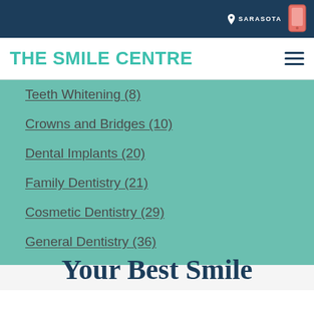SARASOTA
THE SMILE CENTRE
Teeth Whitening (8)
Crowns and Bridges (10)
Dental Implants (20)
Family Dentistry (21)
Cosmetic Dentistry (29)
General Dentistry (36)
Your Best Smile